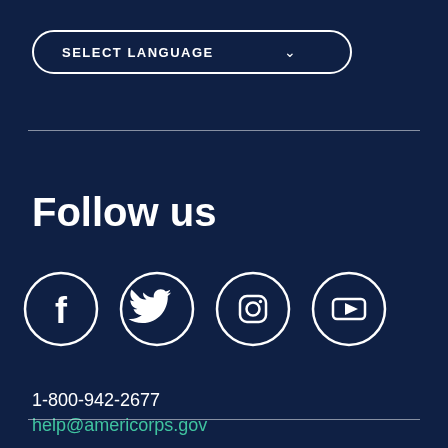[Figure (screenshot): SELECT LANGUAGE dropdown button with chevron arrow, rounded pill shape, white border on dark navy background]
Follow us
[Figure (infographic): Four social media icons in white circles: Facebook (f), Twitter (bird), Instagram (camera), YouTube (play button)]
1-800-942-2677
help@americorps.gov